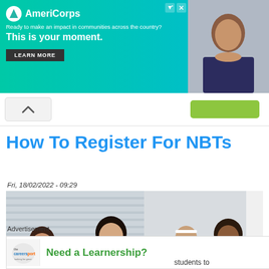[Figure (screenshot): AmeriCorps advertisement banner: teal background with logo, tagline 'Ready to make an impact in communities across the country?', bold text 'This is your moment.', and a 'LEARN MORE' button. Right side shows a photo of a smiling student.]
[Figure (screenshot): Navigation bar with a white chevron/up arrow box and a green button on the right.]
How To Register For NBTs
Fri, 18/02/2022 - 09:29
[Figure (photo): Photo of diverse students sitting at desks writing/studying in a classroom setting. Multiple students visible including one in a yellow floral shirt, one in a white and gold varsity jacket, and others.]
Advertisement
[Figure (screenshot): Careersportal advertisement: white background with logo on left, bold green text 'Need a Learnership?' and an X close button.]
students to